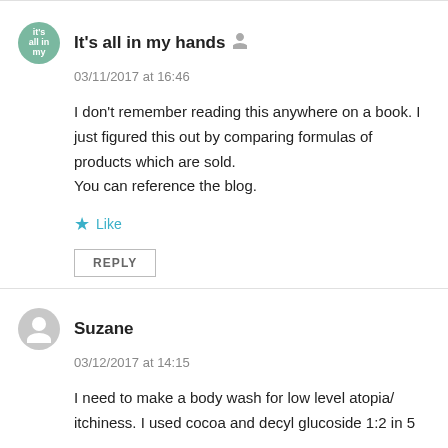It's all in my hands
03/11/2017 at 16:46
I don't remember reading this anywhere on a book. I just figured this out by comparing formulas of products which are sold.
You can reference the blog.
Like
REPLY
Suzane
03/12/2017 at 14:15
I need to make a body wash for low level atopia/ itchiness. I used cocoa and decyl glucoside 1:2 in 5